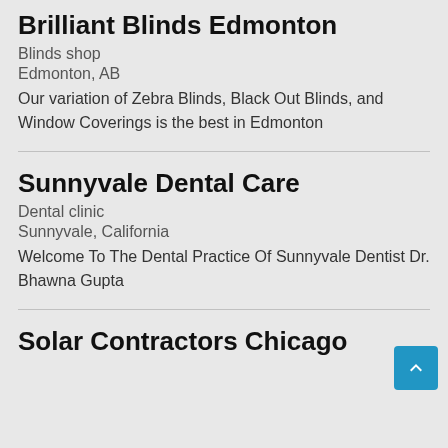Brilliant Blinds Edmonton
Blinds shop
Edmonton, AB
Our variation of Zebra Blinds, Black Out Blinds, and Window Coverings is the best in Edmonton
Sunnyvale Dental Care
Dental clinic
Sunnyvale, California
Welcome To The Dental Practice Of Sunnyvale Dentist Dr. Bhawna Gupta
Solar Contractors Chicago